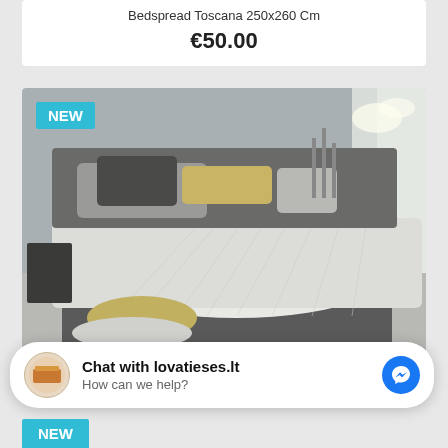Bedspread Toscana 250x260 Cm
€50.00
[Figure (photo): Bedroom scene showing a light grey/white bedspread on a bed with grey and yellow pillows, grey wall background, modern decor. NEW badge in top-left corner.]
Bedspread Brandy C08...
Chat with lovatieses.lt
How can we help?
NEW